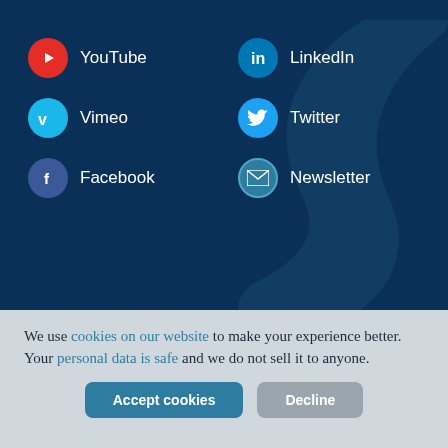[Figure (infographic): Social media links grid on dark blue background: YouTube, LinkedIn, Instagram, Vimeo, Twitter, Facebook, Newsletter icons with labels]
WHO WE ARE
Vision
Careers
We use cookies on our website to make your experience better. Your personal data is safe and we do not sell it to anyone.
Accept cookies | Decline